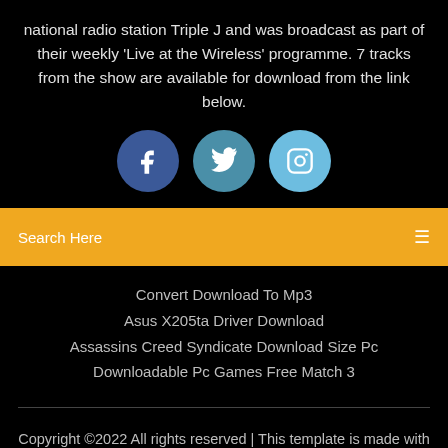national radio station Triple J and was broadcast as part of their weekly 'Live at the Wireless' programme. 7 tracks from the show are available for download from the link below.
[Figure (infographic): Three social media icons: Facebook (dark blue circle with f), Twitter (teal circle with bird), Instagram (light blue circle with camera outline)]
Search Here
Convert Download To Mp3
Asus X205ta Driver Download
Assassins Creed Syndicate Download Size Pc
Downloadable Pc Games Free Match 3
Copyright ©2022 All rights reserved | This template is made with ♡ by Colorlib